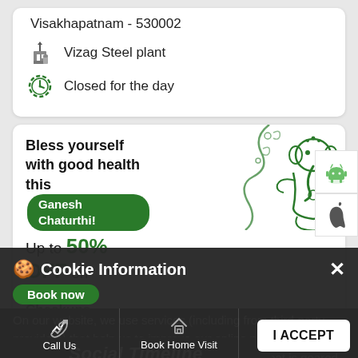Visakhapatnam - 530002
Vizag Steel plant
Closed for the day
[Figure (infographic): Ganesh Chaturthi health promotional banner: 'Bless yourself with good health this Ganesh Chaturthi! Up to 50% OFF on TruHealth Checkups Book now' with decorative Ganesha illustration on right side]
[Figure (other): Android app download button icon]
[Figure (other): Apple app download button icon]
Cookie Information
Book now
On our website, we use services (including from third-party providers) that help us to improve our online presence (optimization of website) and to display content that is geared to their interests. We need your consent before being able to use these services.
Social Timeline
Call Us
Book Home Visit
Directions
I ACCEPT